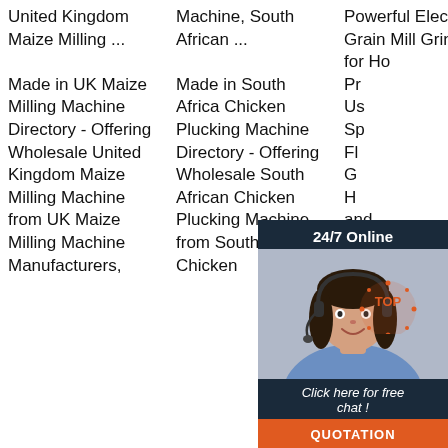United Kingdom Maize Milling ...

Made in UK Maize Milling Machine Directory - Offering Wholesale United Kingdom Maize Milling Machine from UK Maize Milling Machine Manufacturers,
Machine, South African ...

Made in South Africa Chicken Plucking Machine Directory - Offering Wholesale South African Chicken Plucking Machine from South Africa Chicken
Powerful Electric Grain Mill Grinder for Ho... Pr... Us... Sp... Fl... G... H... and... Free Flours - Electric Grain Grinder Mill by Wondermill. 4.6 out of 5 stars.
[Figure (other): Chat popup overlay with 24/7 Online label, female customer service agent photo, 'Click here for free chat!' text, and orange QUOTATION button]